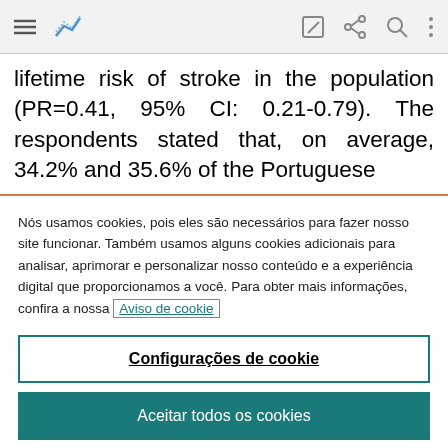[toolbar with navigation icons]
lifetime risk of stroke in the population (PR=0.41, 95% CI: 0.21-0.79). The respondents stated that, on average, 34.2% and 35.6% of the Portuguese
Nós usamos cookies, pois eles são necessários para fazer nosso site funcionar. Também usamos alguns cookies adicionais para analisar, aprimorar e personalizar nosso conteúdo e a experiência digital que proporcionamos a você. Para obter mais informações, confira a nossa Aviso de cookie
Configurações de cookie
Aceitar todos os cookies